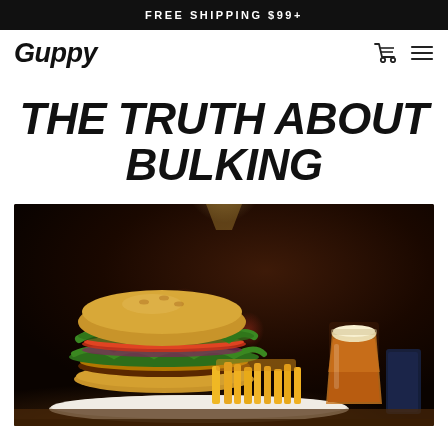FREE SHIPPING $99+
Guppy
THE TRUTH ABOUT BULKING
[Figure (photo): A gourmet burger with lettuce, tomato, and red onion served with french fries on a white plate, alongside a pint glass of amber beer, photographed in a dark restaurant setting with warm bokeh lights in the background.]